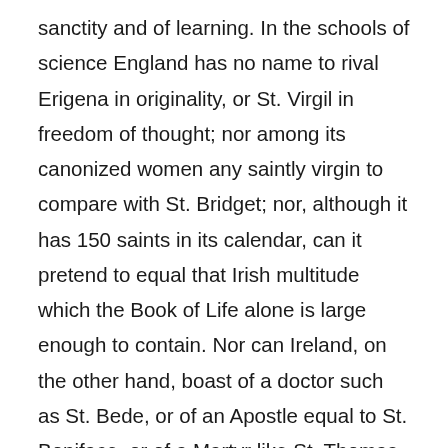sanctity and of learning. In the schools of science England has no name to rival Erigena in originality, or St. Virgil in freedom of thought; nor among its canonized women any saintly virgin to compare with St. Bridget; nor, although it has 150 saints in its calendar, can it pretend to equal that Irish multitude which the Book of Life alone is large enough to contain. Nor can Ireland, on the other hand, boast of a doctor such as St. Bede, or of an Apostle equal to St. Boniface, or of a Martyr like St. Thomas,—or of so long a catalogue of royal devotees as that of the thirty male or female Saxons who in the course of two centuries resigned their crowns, or as the roll of twenty-three kings, and sixty queens and princes, who, between the seventh and